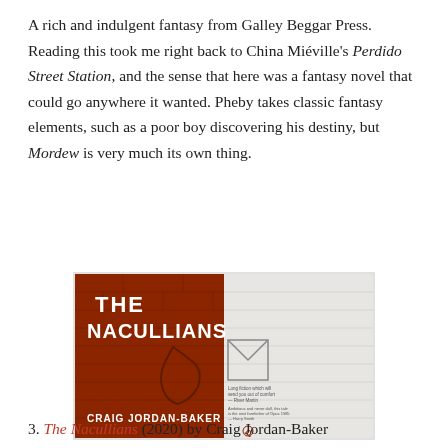A rich and indulgent fantasy from Galley Beggar Press. Reading this took me right back to China Miéville's Perdido Street Station, and the sense that here was a fantasy novel that could go anywhere it wanted. Pheby takes classic fantasy elements, such as a poor boy discovering his destiny, but Mordew is very much its own thing.
[Figure (photo): Book cover of 'The Nacullians' by Craig Jordan-Baker. The cover is split diagonally — left half is dark red/brick with a brick wall texture, right half is white/light grey also with brick texture. Large bold white text on left reads 'THE NACULLIANS'. A hand-drawn sketched figure (envelope/letter shape) appears in the center. At the bottom left: 'CRAIG JORDAN-BAKER' in white. Small blurb text in the lower center. Publisher logo at the bottom center.]
3. The Nacullians (2020) by Craig Jordan-Baker